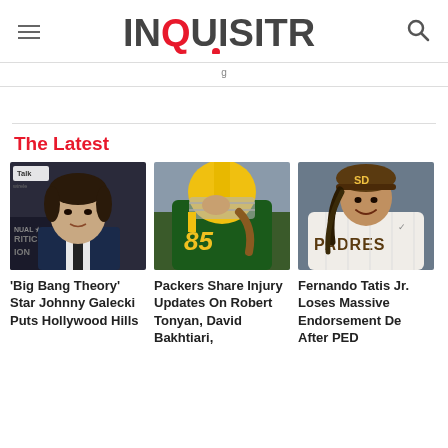INQUISITR
The Latest
[Figure (photo): Photo of Johnny Galecki, Big Bang Theory actor, in dark suit at awards event with Talk Wireless badge visible]
'Big Bang Theory' Star Johnny Galecki Puts Hollywood Hills
[Figure (photo): Green Bay Packers football player #85 wearing yellow helmet and green uniform]
Packers Share Injury Updates On Robert Tonyan, David Bakhtiari,
[Figure (photo): Fernando Tatis Jr. in San Diego Padres white pinstripe uniform smiling, wearing brown cap]
Fernando Tatis Jr. Loses Massive Endorsement De After PED